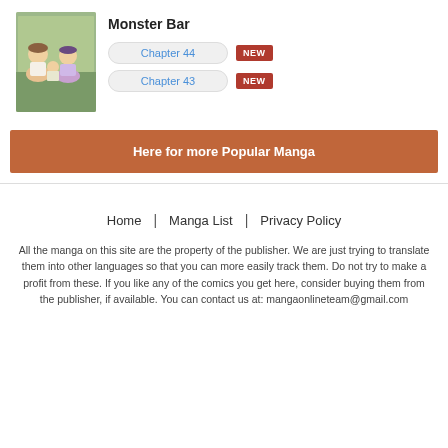[Figure (illustration): Cover image of Monster Bar manga showing anime-style characters sitting outdoors]
Monster Bar
Chapter 44 NEW
Chapter 43 NEW
Here for more Popular Manga
Home | Manga List | Privacy Policy
All the manga on this site are the property of the publisher. We are just trying to translate them into other languages so that you can more easily track them. Do not try to make a profit from these. If you like any of the comics you get here, consider buying them from the publisher, if available. You can contact us at: mangaonlineteam@gmail.com